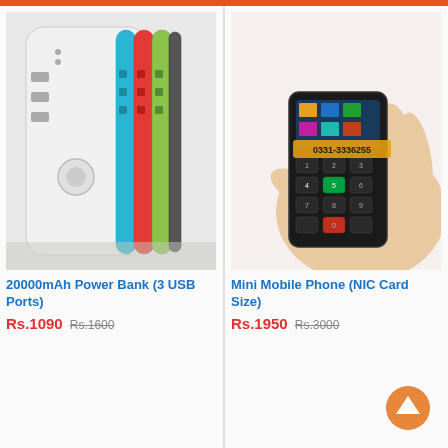[Figure (photo): Multiple colorful power banks (white, blue, red, green) stacked together showing USB ports]
[Figure (photo): A hand holding a small black mini mobile phone (NIC card size) with keypad, with phone number 0331-3336255 watermarked on image]
20000mAh Power Bank (3 USB Ports)
Rs.1090  Rs.1600
Mini Mobile Phone (NIC Card Size)
Rs.1950  Rs.3000